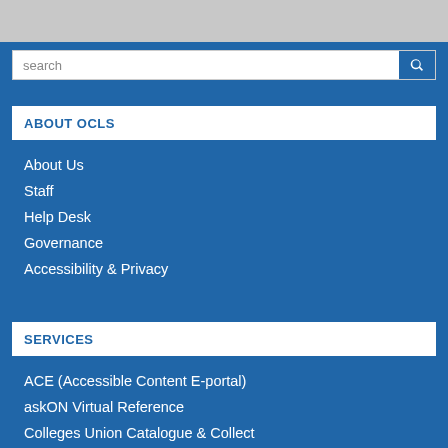[Figure (screenshot): Search bar with text input field and blue search button with magnifying glass icon]
ABOUT OCLS
About Us
Staff
Help Desk
Governance
Accessibility & Privacy
SERVICES
ACE (Accessible Content E-portal)
askON Virtual Reference
Colleges Union Catalogue & Collect